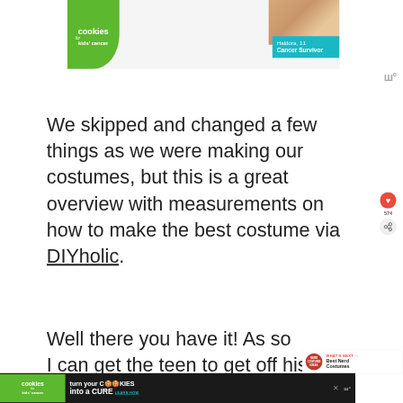[Figure (photo): Advertisement banner for 'Cookies for Kids' Cancer' featuring a green circle logo with text 'cookies for kids cancer', a teal banner with text 'Haldora, 11 Cancer Survivor', and food/cookie imagery in the background.]
We skipped and changed a few things as we were making our costumes, but this is a great overview with measurements on how to make the best costume via DIYholic.
Well there you have it! As so
I can get the teen to get off his
[Figure (screenshot): What's Next panel showing 'Best Nerd Costumes' with a red circular nerd costume badge and arrow.]
[Figure (photo): Bottom advertisement banner for 'Cookies for Kids' Cancer' with text 'turn your COOKIES into a CURE LEARN HOW' on a dark background.]